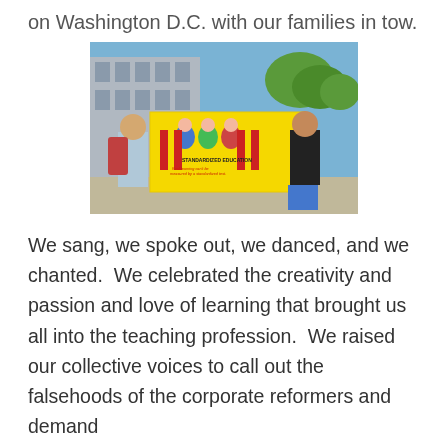on Washington D.C. with our families in tow.
[Figure (photo): People holding a large yellow banner reading 'STANDARDIZED EDUCATION - Real learning can't be measured by a standardized test.' at an outdoor rally or march, with a building and trees in the background.]
We sang, we spoke out, we danced, and we chanted.  We celebrated the creativity and passion and love of learning that brought us all into the teaching profession.  We raised our collective voices to call out the falsehoods of the corporate reformers and demand